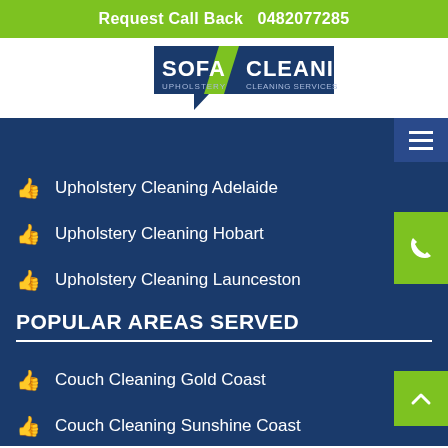Request Call Back  0482077285
[Figure (logo): Sofa Upholstery / Cleaning Cleaning Services logo with dark blue speech bubble shapes and green/white text]
Upholstery Cleaning Adelaide
Upholstery Cleaning Hobart
Upholstery Cleaning Launceston
POPULAR AREAS SERVED
Couch Cleaning Gold Coast
Couch Cleaning Sunshine Coast